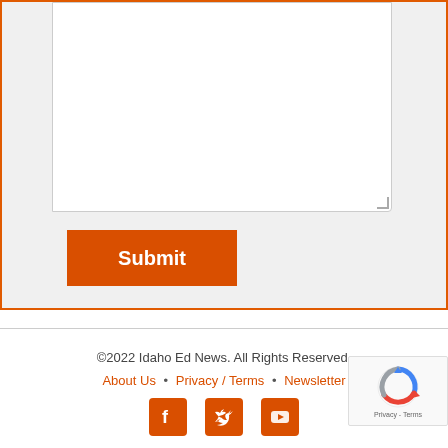[Figure (screenshot): A web form textarea (large empty text input box) with orange border container and a resize handle in the bottom right corner.]
Submit
©2022 Idaho Ed News. All Rights Reserved.
About Us • Privacy / Terms • Newsletter
[Figure (other): Social media icons for Facebook, Twitter, and YouTube in orange.]
[Figure (other): reCAPTCHA badge with Google reCAPTCHA logo and Privacy - Terms text.]